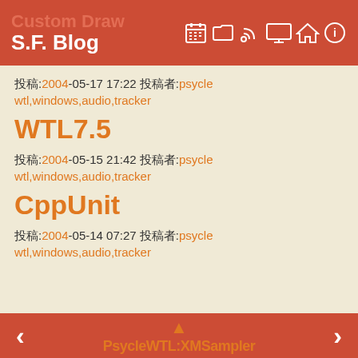Custom Draw / S.F. Blog
投稿:2004-05-17 17:22 投稿者:psycle
wtl,windows,audio,tracker
WTL7.5
投稿:2004-05-15 21:42 投稿者:psycle
wtl,windows,audio,tracker
CppUnit
投稿:2004-05-14 07:27 投稿者:psycle
wtl,windows,audio,tracker
◀ PsycleWTL:XMSampler ▲ ▶